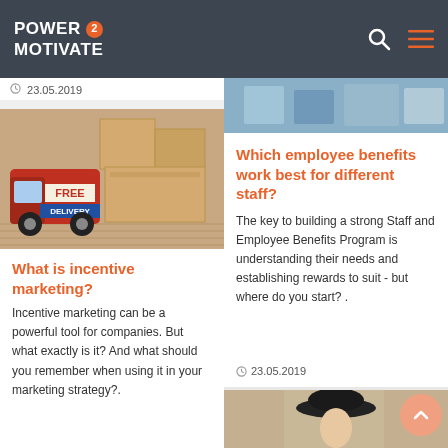POWER 2 MOTIVATE
23.05.2019
[Figure (photo): Toy delivery truck with FREE DELIVERY text in front of cardboard boxes]
What is incentive marketing?
Incentive marketing can be a powerful tool for companies. But what exactly is it? And what should you remember when using it in your marketing strategy?.
[Figure (photo): Light blue/grey abstract image (partial, top of card)]
Which employee benefits work best for different staff?
The key to building a strong Staff and Employee Benefits Program is understanding their needs and establishing rewards to suit - but where do you start? .
23.05.2019
[Figure (photo): Woman wearing black hat (partial, bottom of page)]